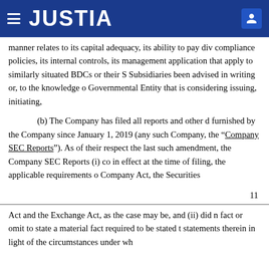JUSTIA
manner relates to its capital adequacy, its ability to pay div compliance policies, its internal controls, its management application that apply to similarly situated BDCs or their S Subsidiaries been advised in writing or, to the knowledge o Governmental Entity that is considering issuing, initiating,
(b) The Company has filed all reports and other d furnished by the Company since January 1, 2019 (any such Company, the “Company SEC Reports”). As of their respect the last such amendment, the Company SEC Reports (i) co in effect at the time of filing, the applicable requirements o Company Act, the Securities
11
Act and the Exchange Act, as the case may be, and (ii) did n fact or omit to state a material fact required to be stated t statements therein in light of the circumstances under wh